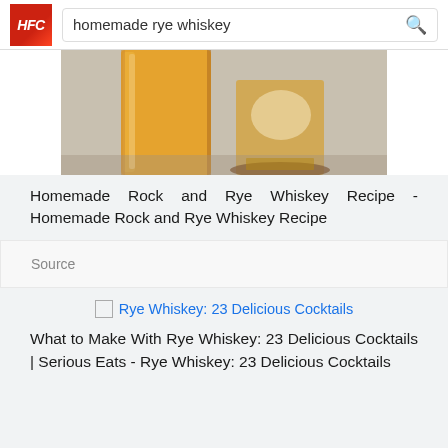homemade rye whiskey
[Figure (photo): Two glasses of whiskey — a tall amber glass and a shorter glass on a wooden coaster — photographed from the side on a light surface]
Homemade Rock and Rye Whiskey Recipe - Homemade Rock and Rye Whiskey Recipe
Source
Rye Whiskey: 23 Delicious Cocktails
What to Make With Rye Whiskey: 23 Delicious Cocktails | Serious Eats - Rye Whiskey: 23 Delicious Cocktails